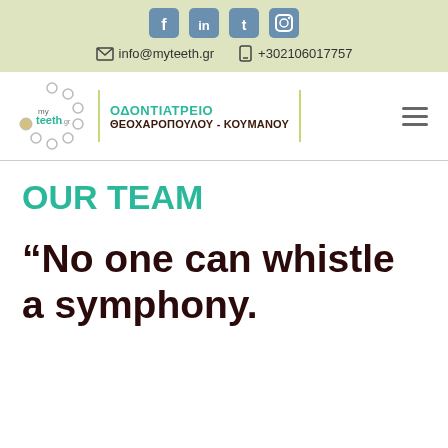Social icons: facebook, linkedin, twitter, instagram
info@myteeth.gr  +302106017757
[Figure (logo): myteeth.gr dental clinic logo with circular tooth icons]
ΟΔΟΝΤΙΑΤΡΕΙΟ ΘΕΟΧΑΡΟΠΟΥΛΟΥ - ΚΟΥΜΑΝΟΥ
OUR TEAM
“No one can whistle a symphony.